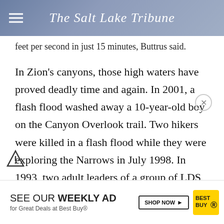The Salt Lake Tribune
feet per second in just 15 minutes, Buttrus said.
In Zion's canyons, those high waters have proved deadly time and again. In 2001, a flash flood washed away a 10-year-old boy on the Canyon Overlook trail. Two hikers were killed in a flash flood while they were exploring the Narrows in July 1998. In 1993, two adult leaders of a group of LDS Explorer Scouts from Salt Lake City died in a flash flood in Kolob Canyon. And in
in a flash flood in Kolob Canyon. And in
[Figure (infographic): Best Buy advertisement overlay: 'SEE OUR WEEKLY AD for Great Deals at Best Buy® SHOP NOW' with Best Buy logo]